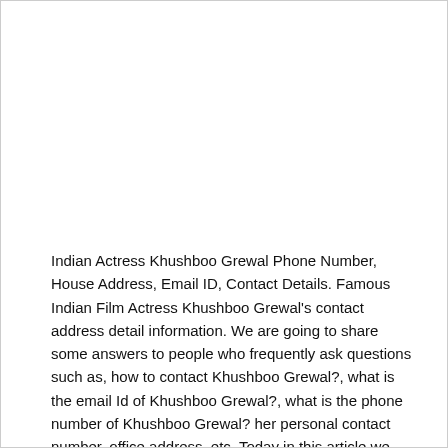Indian Actress Khushboo Grewal Phone Number, House Address, Email ID, Contact Details. Famous Indian Film Actress Khushboo Grewal's contact address detail information. We are going to share some answers to people who frequently ask questions such as, how to contact Khushboo Grewal?, what is the email Id of Khushboo Grewal?, what is the phone number of Khushboo Grewal? her personal contact number, office address, etc. Today in this article we clear about actress Khushboo Grewal all contact process with verified resources.
Popular Indian Actress Khushboo Grewal Social Media Pages like her official Instagram Handle, Twitter Account, Facebook Page, YouTube Channel link are available here. We